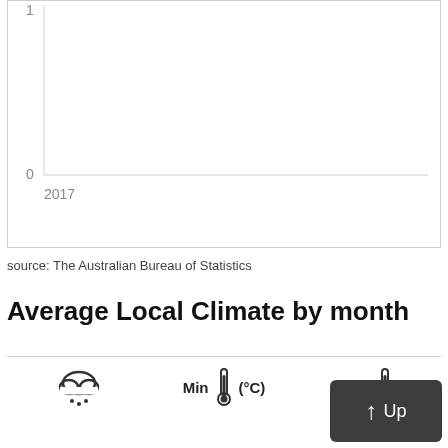[Figure (continuous-plot): Bottom portion of a line/area chart showing y-axis label '1' at top and '0' in the middle, with x-axis label '2017'. Chart appears mostly empty/white in the visible portion.]
source: The Australian Bureau of Statistics
Average Local Climate by month
[Figure (infographic): Row of climate icons: rain cloud icon, Min label with thermometer icon and (°C), Max label with thermometer icon. 'Up' button with arrow in bottom right.]